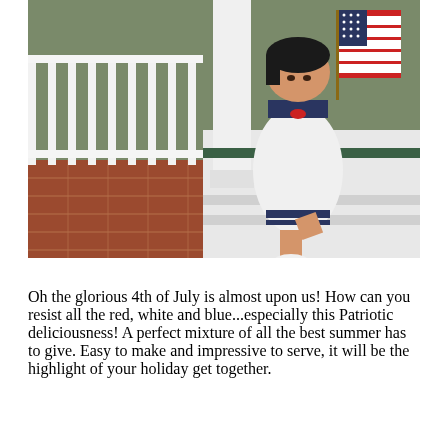[Figure (photo): A young toddler in a white sailor-style dress with navy blue trim and a red bow at the collar, sitting on brick porch steps of a house with white columns, holding a small American flag (red and white stripes visible). The child is looking up and wearing white shoes.]
Oh the glorious 4th of July is almost upon us! How can you resist all the red, white and blue...especially this Patriotic deliciousness! A perfect mixture of all the best summer has to give. Easy to make and impressive to serve, it will be the highlight of your holiday get together.